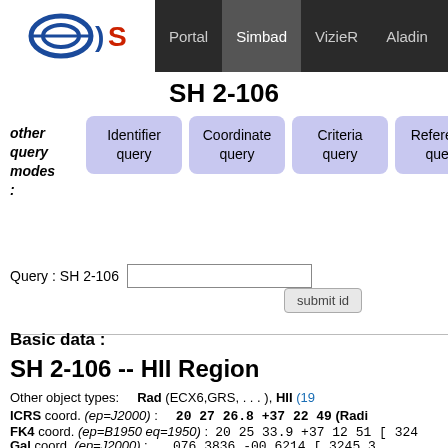Portal | Simbad | VizieR | Aladin | X-Match | Other
SH 2-106
other query modes :
Identifier query | Coordinate query | Criteria query | Reference query | Basic query
Query : SH 2-106
Basic data :
SH 2-106 -- HII Region
Other object types: Rad (ECX6,GRS,...), HII (19...
ICRS coord. (ep=J2000) : 20 27 26.8 +37 22 49 (Radi...
FK4 coord. (ep=B1950 eq=1950) : 20 25 33.9 +37 12 51 [ 324...
Gal coord. (ep=J2000) : 076.3836 -00.6214 [ 3245 3...